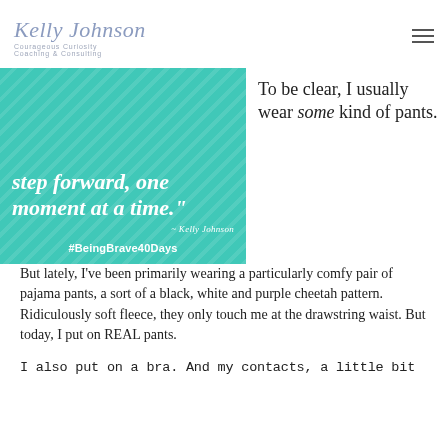Kelly Johnson
Courageous Curiosity
Coaching & Consulting
[Figure (illustration): Teal/turquoise background with diagonal stripe pattern. White italic bold text reads: 'step forward, one moment at a time.' with attribution '~ Kelly Johnson' and hashtag '#BeingBrave40Days']
To be clear, I usually wear some kind of pants. But lately, I've been primarily wearing a particularly comfy pair of pajama pants, a sort of a black, white and purple cheetah pattern. Ridiculously soft fleece, they only touch me at the drawstring waist. But today, I put on REAL pants.
I also put on a bra. And my contacts, a little bit